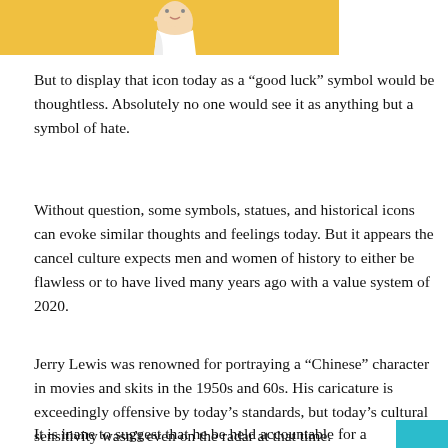[Figure (photo): Partial photo of a baby or young child against a yellow background, cropped at top of page]
But to display that icon today as a “good luck” symbol would be thoughtless. Absolutely no one would see it as anything but a symbol of hate.
Without question, some symbols, statues, and historical icons can evoke similar thoughts and feelings today. But it appears the cancel culture expects men and women of history to either be flawless or to have lived many years ago with a value system of 2020.
Jerry Lewis was renowned for portraying a “Chinese” character in movies and skits in the 1950s and 60s. His caricature is exceedingly offensive by today’s standards, but today’s cultural sensitivity wasn’t even on the radar at that time.
It is inane to suggest that he be held accountable for a cultu...